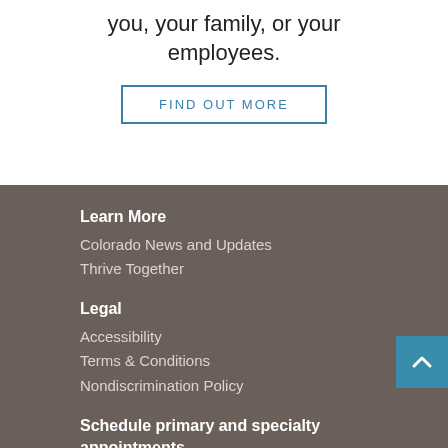you, your family, or your employees.
FIND OUT MORE
Learn More
Colorado News and Updates
Thrive Together
Legal
Accessibility
Terms & Conditions
Nondiscrimination Policy
Schedule primary and specialty appointments
Visit kp.org/appointments or call the